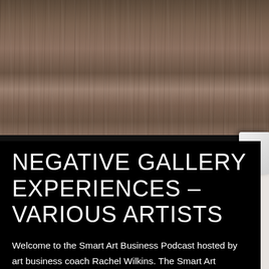[Figure (photo): Wooden plank surface background photo, dark brown rustic wood texture, with a white device/tablet partially visible at the bottom right corner]
NEGATIVE GALLERY EXPERIENCES – VARIOUS ARTISTS
Welcome to the Smart Art Business Podcast hosted by art business coach Rachel Wilkins. The Smart Art Business Podcast aims to help visual artists and creative entrepreneurs grow and...